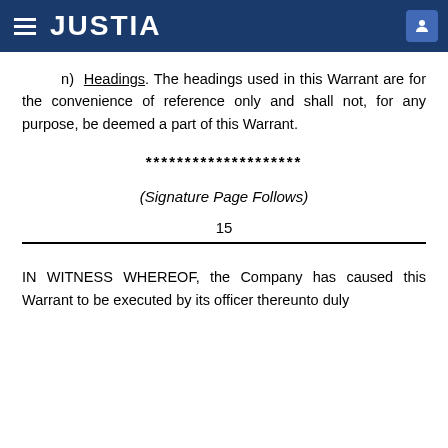JUSTIA
n) Headings. The headings used in this Warrant are for the convenience of reference only and shall not, for any purpose, be deemed a part of this Warrant.
********************
(Signature Page Follows)
15
IN WITNESS WHEREOF, the Company has caused this Warrant to be executed by its officer thereunto duly